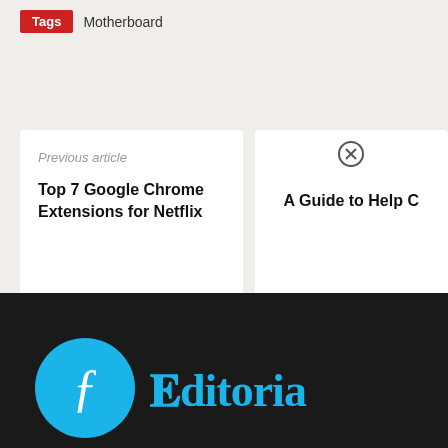Tags  Motherboard
Previous article
Top 7 Google Chrome Extensions for Netflix
A Guide to Help C
[Figure (logo): Blue circular logo with a stylized white letter and 'Editorial' text in cyan on dark background]